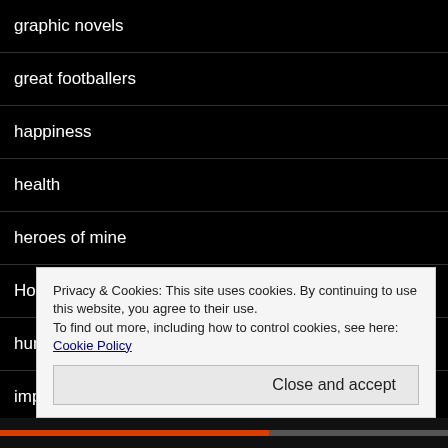graphic novels
great footballers
happiness
health
heroes of mine
Hoochie Coochie
humanity
imperialism
Inhumanity of the dictators
Privacy & Cookies: This site uses cookies. By continuing to use this website, you agree to their use. To find out more, including how to control cookies, see here: Cookie Policy
Close and accept